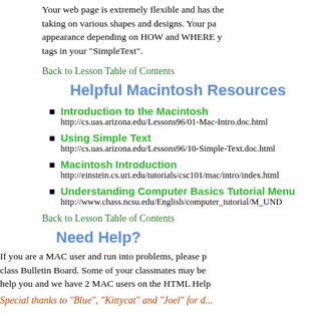Your web page is extremely flexible and has the ability of taking on various shapes and designs. Your page changes appearance depending on HOW and WHERE you put the tags in your "SimpleText".
Back to Lesson Table of Contents
Helpful Macintosh Resources
Introduction to the Macintosh
http://cs.uas.arizona.edu/Lessons96/01-Mac-Intro.doc.html
Using Simple Text
http://cs.uas.arizona.edu/Lessons96/10-Simple-Text.doc.html
Macintosh Introduction
http://einstein.cs.uri.edu/tutorials/csc101/mac/intro/index.html
Understanding Computer Basics Tutorial Menu
http://www.chass.ncsu.edu/English/computer_tutorial/M_UND...
Back to Lesson Table of Contents
Need Help?
If you are a MAC user and run into problems, please post to the class Bulletin Board. Some of your classmates may be able to help you and we have 2 MAC users on the HTML Help team.
Special thanks to "Blue", "Kittycat" and "Joel" for d...